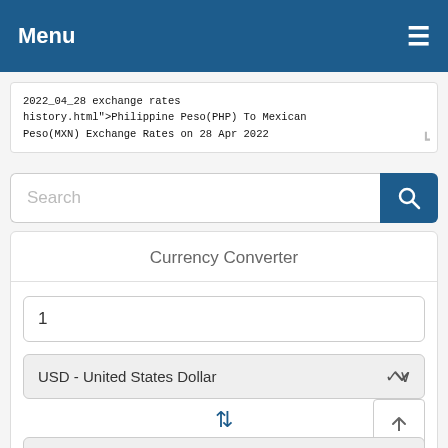Menu ☰
2022_04_28 exchange rates history.html">Philippine Peso(PHP) To Mexican Peso(MXN) Exchange Rates on 28 Apr 2022
Search
Currency Converter
1
USD - United States Dollar
⇅
EUR - Euro